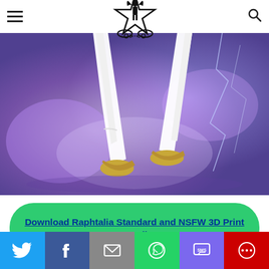Navigation header with hamburger menu, logo, and search icon
[Figure (illustration): Anime character lower body showing white stockings and yellow shoes against a purple/blue glowing background with lightning effects]
Download Raphtalia Standard and NSFW 3D Print STL File
[Figure (infographic): Social sharing bar with Twitter, Facebook, Email, WhatsApp, SMS, and More buttons]